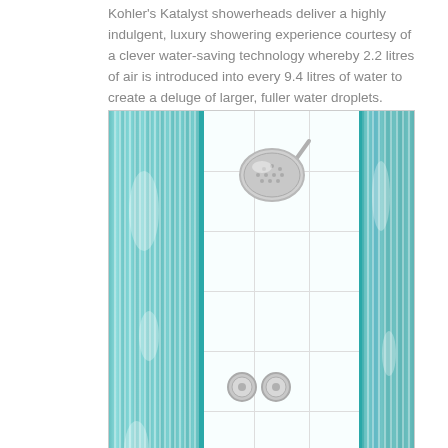Kohler's Katalyst showerheads deliver a highly indulgent, luxury showering experience courtesy of a clever water-saving technology whereby 2.2 litres of air is introduced into every 9.4 litres of water to create a deluge of larger, fuller water droplets.
[Figure (photo): A modern shower enclosure with teal/aqua ribbed glass panels on left and right sides, white tiled walls in the center, a round overhead Kohler Katalyst showerhead mounted at the top, and circular wall-mounted shower controls near the bottom.]